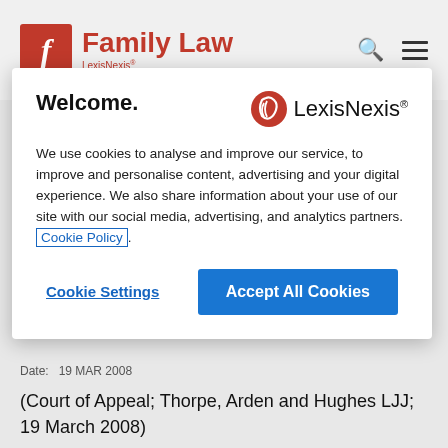Family Law — LexisNexis
Welcome.
We use cookies to analyse and improve our service, to improve and personalise content, advertising and your digital experience. We also share information about your use of our site with our social media, advertising, and analytics partners. Cookie Policy.
Cookie Settings   Accept All Cookies
Date:   19 MAR 2008
(Court of Appeal; Thorpe, Arden and Hughes LJJ; 19 March 2008)